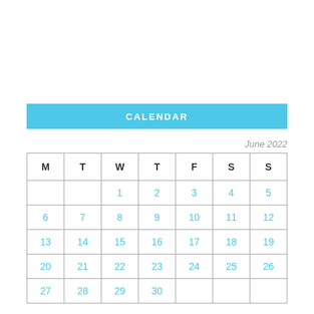CALENDAR
June 2022
| M | T | W | T | F | S | S |
| --- | --- | --- | --- | --- | --- | --- |
|  |  | 1 | 2 | 3 | 4 | 5 |
| 6 | 7 | 8 | 9 | 10 | 11 | 12 |
| 13 | 14 | 15 | 16 | 17 | 18 | 19 |
| 20 | 21 | 22 | 23 | 24 | 25 | 26 |
| 27 | 28 | 29 | 30 |  |  |  |